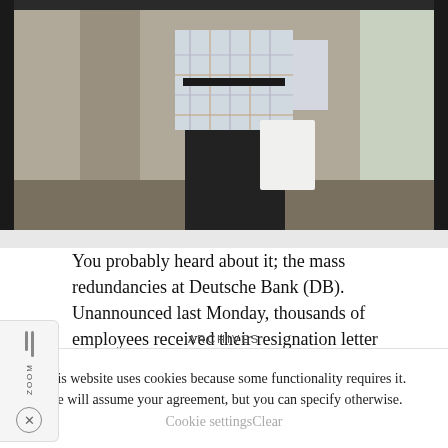[Figure (photo): A person in a light plaid shirt and dark pants standing in what appears to be an office or building lobby, photographed from behind/side, holding papers.]
You probably heard about it; the mass redundancies at Deutsche Bank (DB). Unannounced last Monday, thousands of employees received their resignation letter without mercy and were able to leave the premises immediately. The …
READ MORE
ARCHIVES
This website uses cookies because some functionality requires it. We will assume your agreement, but you can specify otherwise.
Cookie settingsClear